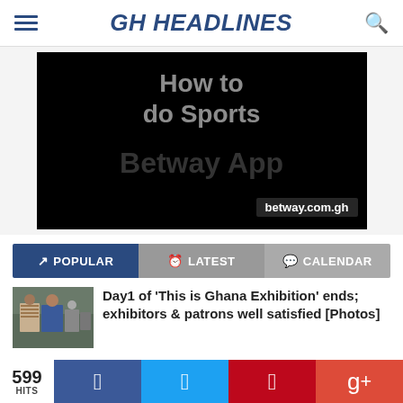GH HEADLINES
[Figure (photo): Betway App advertisement on black background showing 'How to do Sports' text and 'betway.com.gh' URL]
POPULAR | LATEST | CALENDAR
[Figure (photo): Thumbnail photo of two men at Ghana Exhibition]
Day1 of 'This is Ghana Exhibition' ends; exhibitors & patrons well satisfied [Photos]
599 HITS | Facebook | Twitter | Pinterest | Google+